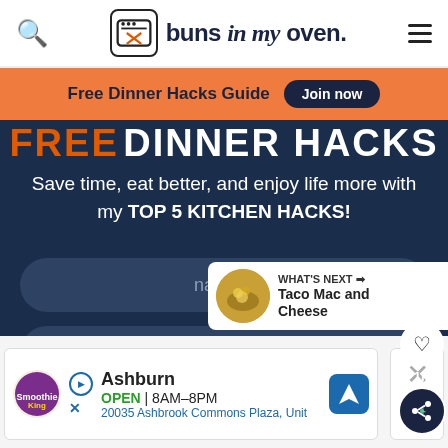buns in my oven.
Free Dinner Hacks Guide  Join now
FREE DINNER HACKS
Save time, eat better, and enjoy life more with my TOP 5 KITCHEN HACKS!
[Figure (screenshot): Email signup form with name and email input fields and a join now button on dark navy background]
WHAT'S NEXT → Taco Mac and Cheese
Ashburn  OPEN | 8AM–8PM  20035 Ashbrook Commons Plaza, Unit